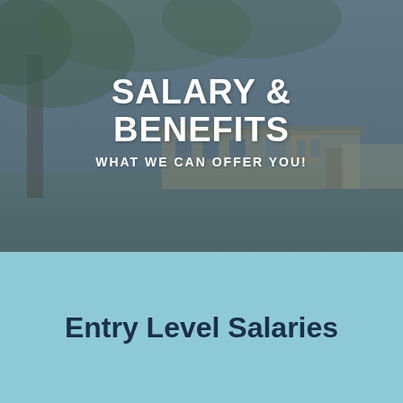[Figure (photo): Outdoor scene with trees and a building/house in the background, overlaid with a semi-transparent grey-blue tint. Text overlaid on image reads 'SALARY & BENEFITS' and 'WHAT WE CAN OFFER YOU!']
SALARY & BENEFITS
WHAT WE CAN OFFER YOU!
Entry Level Salaries